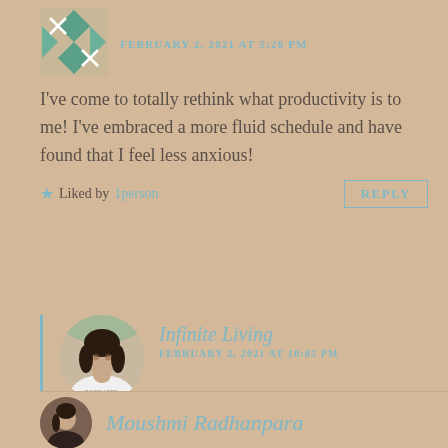FEBRUARY 2, 2021 AT 5:20 PM
I've come to totally rethink what productivity is to me! I've embraced a more fluid schedule and have found that I feel less anxious!
★ Liked by 1person
REPLY
Infinite Living
FEBRUARY 2, 2021 AT 10:05 PM
Yes :))
★ Liked by 1person
REPLY
Moushmi Radhanpara